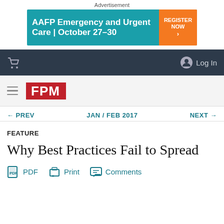Advertisement
[Figure (infographic): AAFP Emergency and Urgent Care | October 27-30 advertisement banner with orange REGISTER NOW button]
Cart icon and Log In navigation bar
[Figure (logo): FPM logo in red square with hamburger menu]
← PREV   JAN / FEB 2017   NEXT →
FEATURE
Why Best Practices Fail to Spread
PDF   Print   Comments